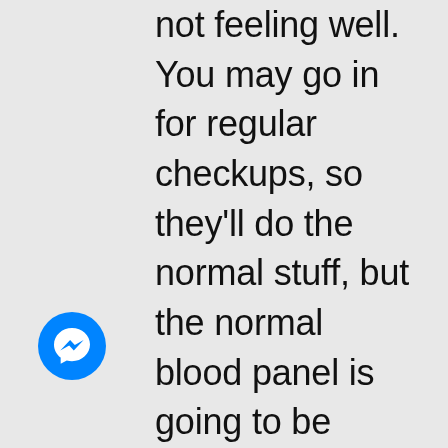not feeling well. You may go in for regular checkups, so they'll do the normal stuff, but the normal blood panel is going to be looking at your cholesterol and maybe they're looking at some organ function, particularly if they know there's some lifestyle things going on. They may check some bits and pieces of the data that
[Figure (logo): Facebook Messenger blue circle icon with white lightning bolt / chat icon]